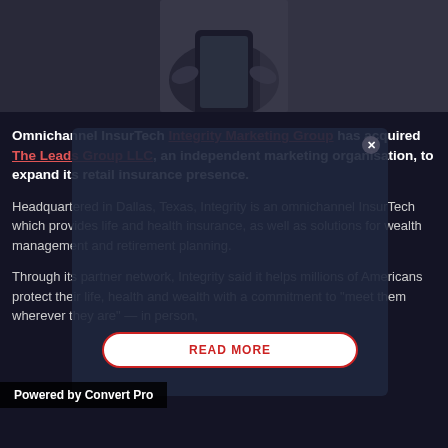[Figure (photo): Dark photo of hands holding a smartphone, overlaid with a semi-transparent modal popup showing a 'READ MORE' button]
Omnichannel InsurTech Integrity Marketing Group has acquired The Leads Group LLC, an independent marketing organisation, to expand its retail insurance presence.
Headquartered in Dallas, Texas, Integrity is an omnichannel InsurTech which provides life and health insurance, as well as solutions for wealth management and retirement planning.
Through its partner network, Integrity said it helps millions of Americans protect their life, health and wealth with a commitment to "meet them wherever they are" — in person,
Powered by Convert Pro